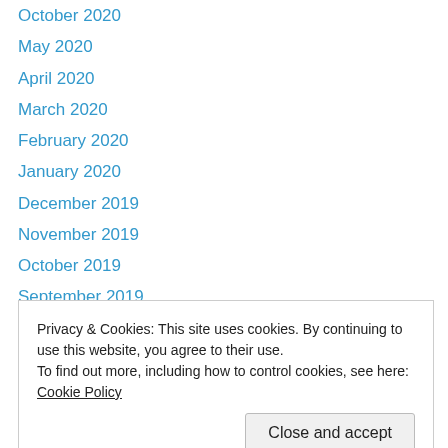October 2020
May 2020
April 2020
March 2020
February 2020
January 2020
December 2019
November 2019
October 2019
September 2019
August 2019
July 2019
June 2019
Privacy & Cookies: This site uses cookies. By continuing to use this website, you agree to their use. To find out more, including how to control cookies, see here: Cookie Policy
November 2018